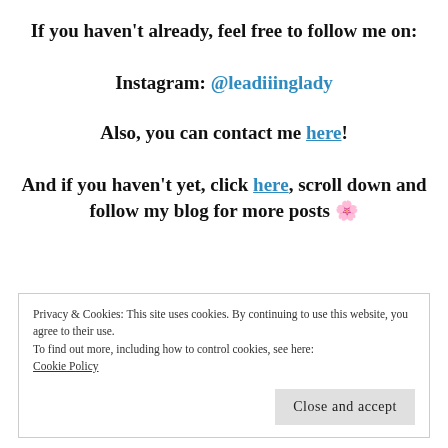If you haven't already, feel free to follow me on:
Instagram: @leadiiinglady
Also, you can contact me here!
And if you haven't yet, click here, scroll down and follow my blog for more posts 🌸
Privacy & Cookies: This site uses cookies. By continuing to use this website, you agree to their use.
To find out more, including how to control cookies, see here:
Cookie Policy
Close and accept